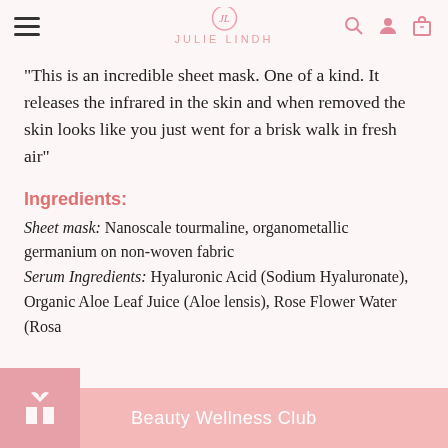JULIE LINDH — navigation bar with hamburger menu, logo, search, account, and bag icons
“This is an incredible sheet mask. One of a kind. It releases the infrared in the skin and when removed the skin looks like you just went for a brisk walk in fresh air”
Ingredients:
Sheet mask: Nanoscale tourmaline, organometallic germanium on non-woven fabric
Serum Ingredients: Hyaluronic Acid (Sodium Hyaluronate), Organic Aloe Leaf Juice (Aloe lensis), Rose Flower Water (Rosa
Beauty Wellness Club